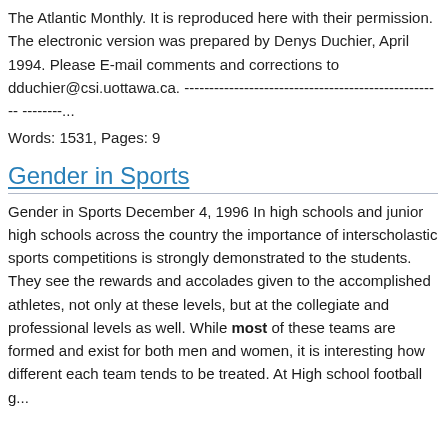The Atlantic Monthly. It is reproduced here with their permission. The electronic version was prepared by Denys Duchier, April 1994. Please E-mail comments and corrections to dduchier@csi.uottawa.ca. -------------------------------------------------------------------…
Words: 1531, Pages: 9
Gender in Sports
Gender in Sports December 4, 1996 In high schools and junior high schools across the country the importance of interscholastic sports competitions is strongly demonstrated to the students. They see the rewards and accolades given to the accomplished athletes, not only at these levels, but at the collegiate and professional levels as well. While most of these teams are formed and exist for both men and women, it is interesting how different each team tends to be treated. At High school football g...